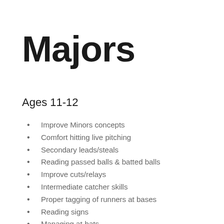Majors
Ages 11-12
Improve Minors concepts
Comfort hitting live pitching
Secondary leads/steals
Reading passed balls & batted balls
Improve cuts/relays
Intermediate catcher skills
Proper tagging of runners at bases
Reading signs
Managing at-bats
Basic pitching mechanics & grips (2-seam, 4-seam, changeup)
Basic OF play
Hierarchy of positions